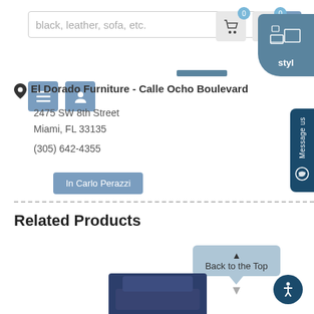[Figure (screenshot): Search input bar with placeholder text 'black, leather, sofa, etc.']
[Figure (screenshot): Navigation buttons: hamburger menu, user icon, cart with badge 0, heart with badge 0]
El Dorado Furniture - Calle Ocho Boulevard
2475 SW 8th Street
Miami, FL 33135
(305) 642-4355
In Carlo Perazzi
Related Products
Back to the Top